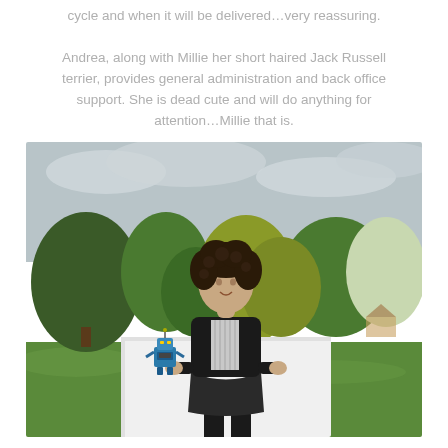cycle and when it will be delivered…very reassuring.

Andrea, along with Millie her short haired Jack Russell terrier, provides general administration and back office support. She is dead cute and will do anything for attention…Millie that is.
[Figure (photo): A woman with curly dark hair sits on a large white cube in an outdoor park setting. She wears a black blazer over a black and white patterned top, a dark skirt, black tights and dark shoes. A small blue toy robot stands on the cube beside her to the left. The background shows green grass and trees with autumn foliage under a cloudy sky.]